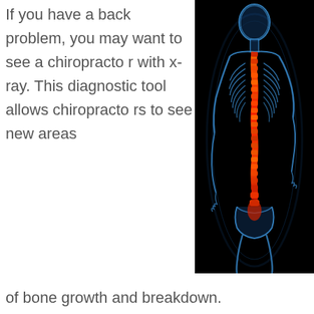If you have a back problem, you may want to see a chiropractor with x-ray. This diagnostic tool allows chiropractors to see new areas
[Figure (illustration): Medical X-ray illustration showing a human skeleton from the back (posterior view) with the spine highlighted in red/orange indicating pain or inflammation. The figure is rendered in a blue translucent style against a black background, with the person's hands on their hips.]
of bone growth and breakdown. Chiropractors also